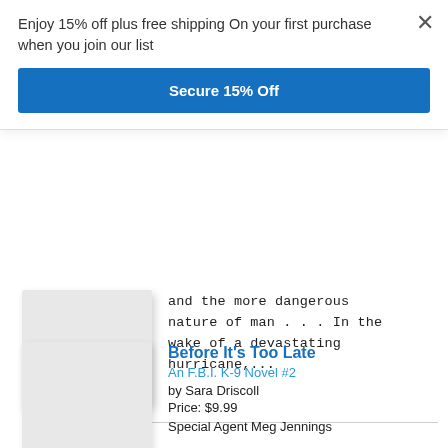Enjoy 15% off plus free shipping On your first purchase when you join our list
Secure 15% Off
and the more dangerous nature of man . . .  In the wake of a devastating hurricane,...
Before It's Too Late
An F.B.I. K-9 Novel #2
by Sara Driscoll
Price: $9.99
Special Agent Meg Jennings